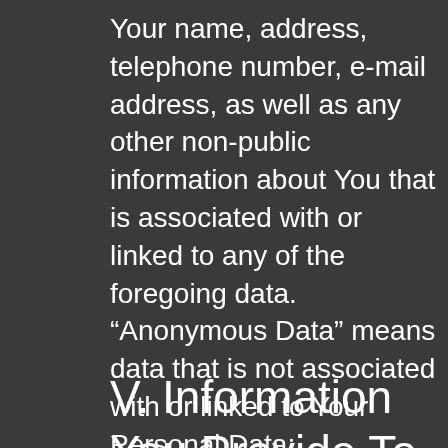Your name, address, telephone number, e-mail address, as well as any other non-public information about You that is associated with or linked to any of the foregoing data. “Anonymous Data” means data that is not associated with or linked to Your Personal Data; Anonymous Data does not, by itself, permit the identification of individual persons. We collect Personal Data and Anonymous Data, as described below.
V. Information You Provide To Us